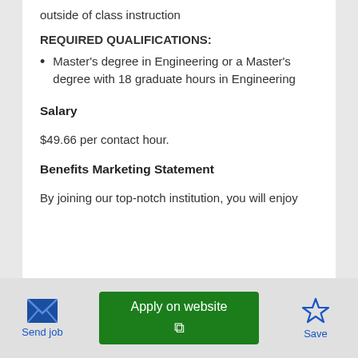outside of class instruction
REQUIRED QUALIFICATIONS:
Master's degree in Engineering or a Master's degree with 18 graduate hours in Engineering
Salary
$49.66 per contact hour.
Benefits Marketing Statement
By joining our top-notch institution, you will enjoy